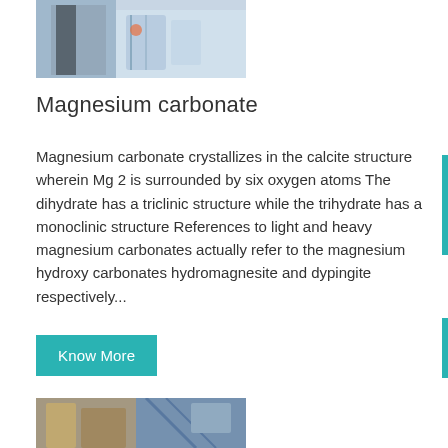[Figure (photo): Photo of laboratory or industrial equipment with blue/teal machinery and a person in the background]
Magnesium carbonate
Magnesium carbonate crystallizes in the calcite structure wherein Mg 2 is surrounded by six oxygen atoms The dihydrate has a triclinic structure while the trihydrate has a monoclinic structure References to light and heavy magnesium carbonates actually refer to the magnesium hydroxy carbonates hydromagnesite and dypingite respectively...
Know More
[Figure (photo): Photo of industrial facility or cooling tower structure outdoors]